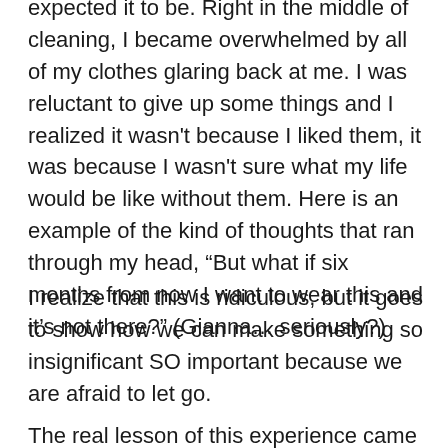expected it to be. Right in the middle of cleaning, I became overwhelmed by all of my clothes glaring back at me. I was reluctant to give up some things and I realized it wasn't because I liked them, it was because I wasn't sure what my life would be like without them. Here is an example of the kind of thoughts that ran through my head, “But what if six months from now I want to wear this and it’s not there?” (Gianna… seriously?)
I realize that this is ridiculous, but it goes to show how we can make something so insignificant SO important because we are afraid to let go.
The real lesson of this experience came to me